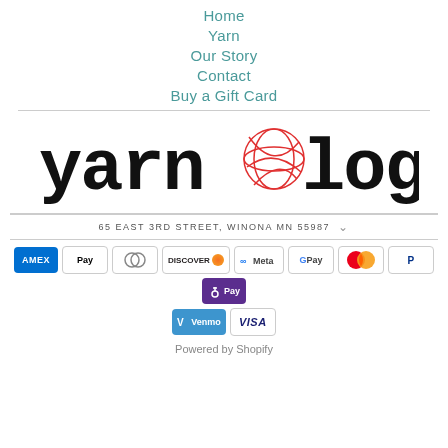Home
Yarn
Our Story
Contact
Buy a Gift Card
[Figure (logo): Yarnology logo with typewriter-style text and a red yarn ball replacing the letter 'o']
65 EAST 3RD STREET, WINONA MN 55987
[Figure (other): Payment method icons: American Express, Apple Pay, Diners Club, Discover, Meta Pay, Google Pay, Mastercard, PayPal, Shop Pay, Venmo, Visa]
Powered by Shopify